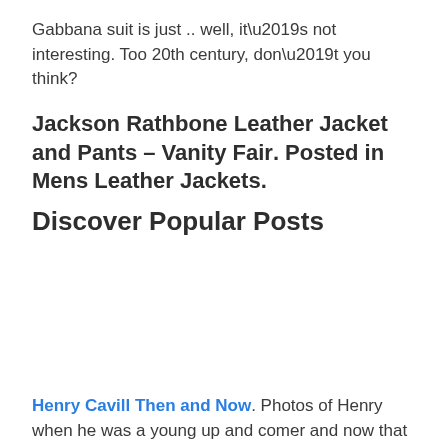Gabbana suit is just .. well, it’s not interesting. Too 20th century, don’t you think?
Jackson Rathbone Leather Jacket and Pants – Vanity Fair. Posted in Mens Leather Jackets.
Discover Popular Posts
Henry Cavill Then and Now. Photos of Henry when he was a young up and comer and now that he is a Hollywood superstar.